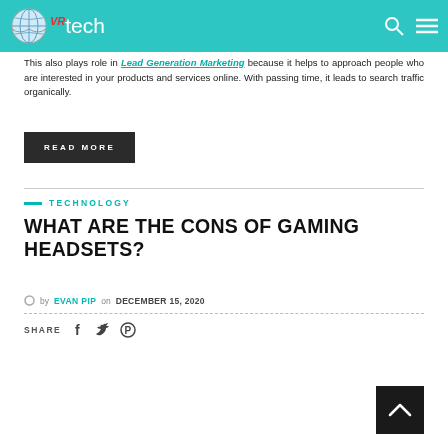VRtech – site header navigation bar
This also plays role in Lead Generation Marketing because it helps to approach people who are interested in your products and services online. With passing time, it leads to search traffic organically.
READ MORE
TECHNOLOGY
WHAT ARE THE CONS OF GAMING HEADSETS?
by EVAN PIP on DECEMBER 15, 2020
SHARE